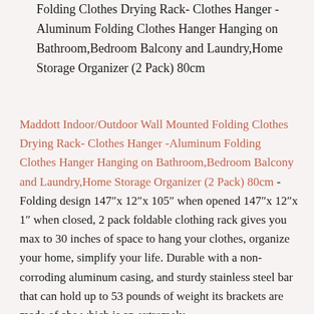Folding Clothes Drying Rack- Clothes Hanger -Aluminum Folding Clothes Hanger Hanging on Bathroom,Bedroom Balcony and Laundry,Home Storage Organizer (2 Pack) 80cm
Maddott Indoor/Outdoor Wall Mounted Folding Clothes Drying Rack- Clothes Hanger -Aluminum Folding Clothes Hanger Hanging on Bathroom,Bedroom Balcony and Laundry,Home Storage Organizer (2 Pack) 80cm - Folding design 147"x 12"x 105" when opened 147"x 12"x 1" when closed, 2 pack foldable clothing rack gives you max to 30 inches of space to hang your clothes, organize your home, simplify your life. Durable with a non-corroding aluminum casing, and sturdy stainless steel bar that can hold up to 53 pounds of weight its brackets are made of abs which is an extremely